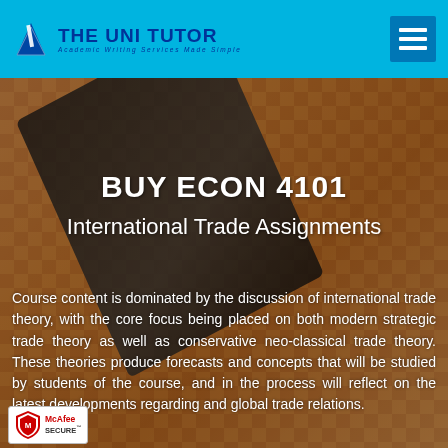THE UNI TUTOR — Academic Writing Services Made Simple
BUY ECON 4101
International Trade Assignments
Course content is dominated by the discussion of international trade theory, with the core focus being placed on both modern strategic trade theory as well as conservative neo-classical trade theory. These theories produce forecasts and concepts that will be studied by students of the course, and in the process will reflect on the latest developments regarding and global trade relations.